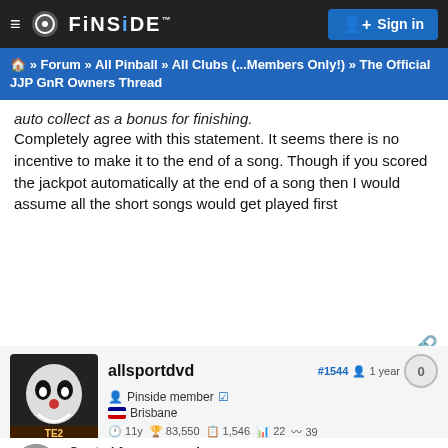FINSIDE    Sign in
Home » Forum » All Pinball » All Clubs (...Members Only!) » The Official JJP GnR Owners Thread
auto collect as a bonus for finishing.
Completely agree with this statement. It seems there is no incentive to make it to the end of a song. Though if you scored the jackpot automatically at the end of a song then I would assume all the short songs would get played first
allsportdvd  #1544  1 year  0
Pinside member  Brisbane
11y  83,550  1,546  22  39
Quoted from screaminr:
I spoke to the OZ distributor today .
He's about 15 minutes up the road and has a demo I can play
The only problem is , we are still in lock down but hopefully
∨ More ∨